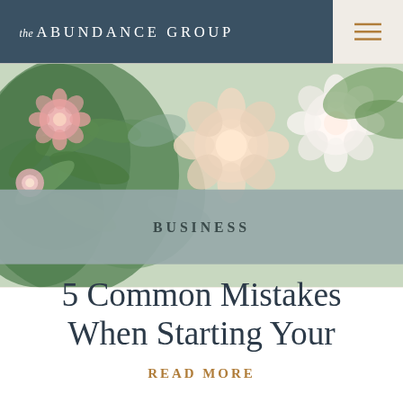the ABUNDANCE GROUP
[Figure (photo): Floral arrangement photo showing pink, peach, and white flowers with green leaves as a header image]
BUSINESS
5 Common Mistakes When Starting Your
READ MORE